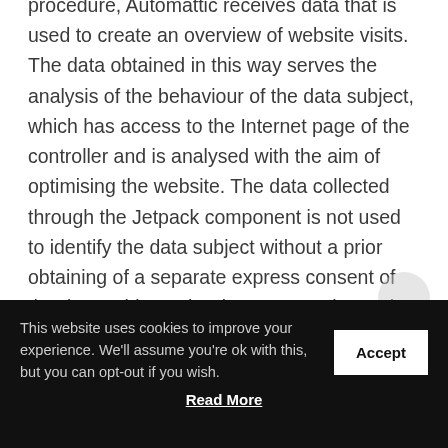procedure, Automattic receives data that is used to create an overview of website visits. The data obtained in this way serves the analysis of the behaviour of the data subject, which has access to the Internet page of the controller and is analysed with the aim of optimising the website. The data collected through the Jetpack component is not used to identify the data subject without a prior obtaining of a separate express consent of the data subject. The data comes also to the notice of Quantcast. Quantcast uses the data for
This website uses cookies to improve your experience. We'll assume you're ok with this, but you can opt-out if you wish.
Accept
Read More